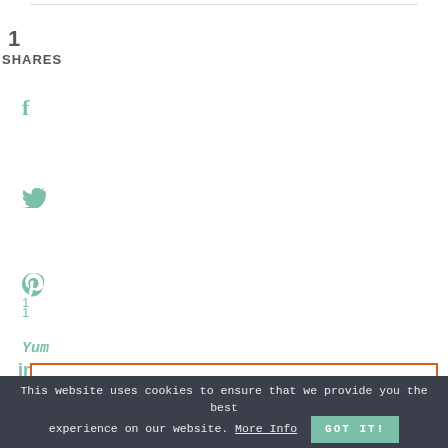1
SHARES
[Figure (other): Social media share icons: Facebook (f), Twitter bird, Pinterest (p) with count 1, LinkedIn (in), Yummly (Yum), Tumblr (t)]
BUY THE BOOK
This website uses cookies to ensure that we provide you the best experience on our website. More Info GOT IT!